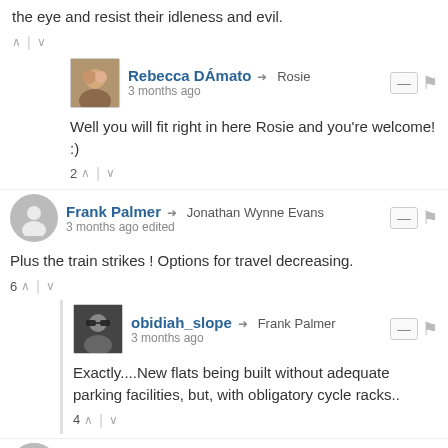the eye and resist their idleness and evil.
Rebecca DÁmato → Rosie
3 months ago
Well you will fit right in here Rosie and you're welcome! :)
Frank Palmer → Jonathan Wynne Evans
3 months ago edited
Plus the train strikes ! Options for travel decreasing.
obidiah_slope → Frank Palmer
3 months ago
Exactly....New flats being built without adequate parking facilities, but, with obligatory cycle racks..
UKCitizen
3 months ago
Don't worry there are queues of diverse and female candidates